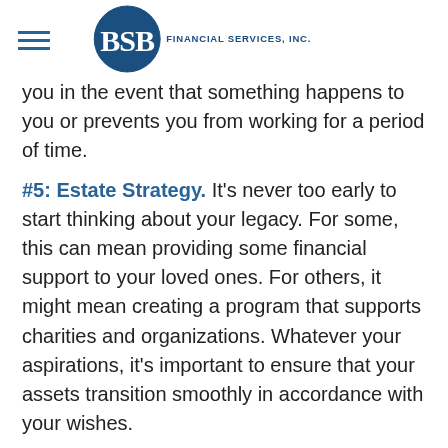BSB FINANCIAL SERVICES, INC.
you in the event that something happens to you or prevents you from working for a period of time.
#5: Estate Strategy. It's never too early to start thinking about your legacy. For some, this can mean providing some financial support to your loved ones. For others, it might mean creating a program that supports charities and organizations. Whatever your aspirations, it's important to ensure that your assets transition smoothly in accordance with your wishes.
The content is developed from sources believed to be providing accurate information. The information in this material is not intended as tax or legal advice. It may not be used for the purpose of avoiding any federal tax penalties. Please consult legal or tax professionals for specific information regarding your individual situation. This material was developed and produced by FMG Suite to provide information on a topic that may be of